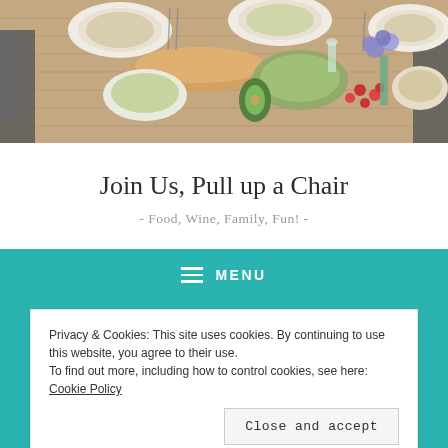[Figure (photo): Overhead view of a wooden dining table with various food dishes, plates of pasta, bread, salad bowls, cherry tomatoes, avocados, and a vase of purple flowers]
Join Us, Pull up a Chair
- Food, Wine, Family, Fun! -
☰ MENU
Privacy & Cookies: This site uses cookies. By continuing to use this website, you agree to their use.
To find out more, including how to control cookies, see here: Cookie Policy
Close and accept
[Figure (photo): Bottom portion of a food photo, partially visible]